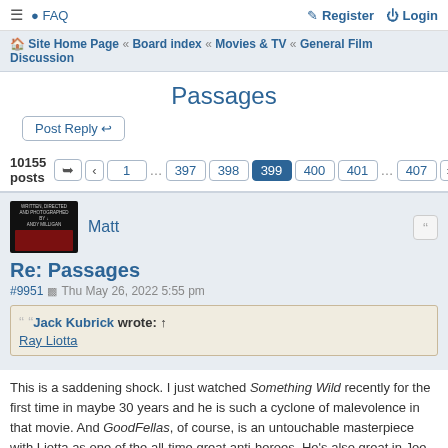≡  FAQ    Register   Login
Site Home Page « Board index « Movies & TV « General Film Discussion
Passages
Post Reply
10155 posts  « 1 … 397 398 399 400 401 … 407 »
Matt
Re: Passages
#9951  Thu May 26, 2022 5:55 pm
Jack Kubrick wrote: ↑
Ray Liotta
This is a saddening shock. I just watched Something Wild recently for the first time in maybe 30 years and he is such a cyclone of malevolence in that movie. And GoodFellas, of course, is an untouchable masterpiece with Liotta as one of the all-time great anti-heroes. He's also great in Joe Carnahan's Narc, a film that was a big splash 20 years ago, gave Liotta's